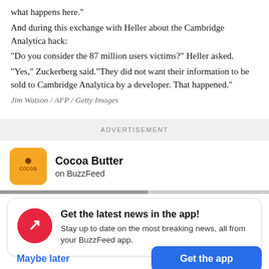what happens here." And during this exchange with Heller about the Cambridge Analytica hack: "Do you consider the 87 million users victims?" Heller asked. "Yes," Zuckerberg said."They did not want their information to be sold to Cambridge Analytica by a developer. That happened."
Jim Watson / AFP / Getty Images
ADVERTISEMENT
[Figure (logo): Cocoa Butter on BuzzFeed advertisement with yellow icon]
[Figure (infographic): BuzzFeed app notification prompt with red BuzzFeed trending icon, title 'Get the latest news in the app!', subtitle 'Stay up to date on the most breaking news, all from your BuzzFeed app.', with 'Maybe later' and 'Get the app' buttons]